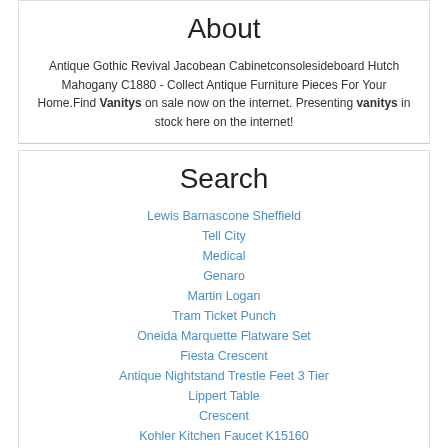About
Antique Gothic Revival Jacobean Cabinetconsolesideboard Hutch Mahogany C1880 - Collect Antique Furniture Pieces For Your Home.Find Vanitys on sale now on the internet. Presenting vanitys in stock here on the internet!
Search
Lewis Barnascone Sheffield
Tell City
Medical
Genaro
Martin Logan
Tram Ticket Punch
Oneida Marquette Flatware Set
Fiesta Crescent
Antique Nightstand Trestle Feet 3 Tier
Lippert Table
Crescent
Kohler Kitchen Faucet K15160
Chair Bottom 4384